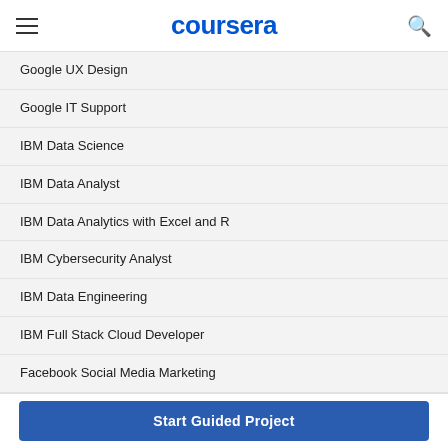coursera
Google UX Design
Google IT Support
IBM Data Science
IBM Data Analyst
IBM Data Analytics with Excel and R
IBM Cybersecurity Analyst
IBM Data Engineering
IBM Full Stack Cloud Developer
Facebook Social Media Marketing
Facebook Marketing Analytics
Salesforce Sales Development Representative
Salesforce Sales Operations
Start Guided Project